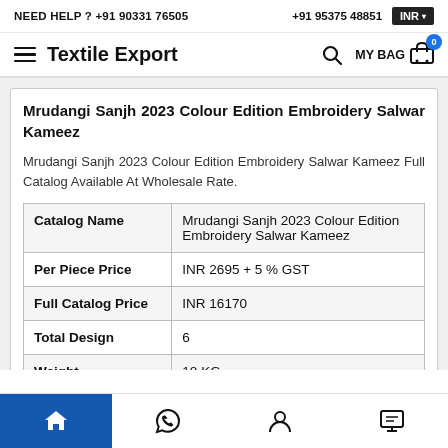NEED HELP ? +91 90331 76505   +91 95375 48851   INR
Textile Export  MY BAG 0
Mrudangi Sanjh 2023 Colour Edition Embroidery Salwar Kameez
Mrudangi Sanjh 2023 Colour Edition Embroidery Salwar Kameez Full Catalog Available At Wholesale Rate.
| Catalog Name | Mrudangi Sanjh 2023 Colour Edition Embroidery Salwar Kameez |
| Per Piece Price | INR 2695 + 5 % GST |
| Full Catalog Price | INR 16170 |
| Total Design | 6 |
| Weight | 10 KG |